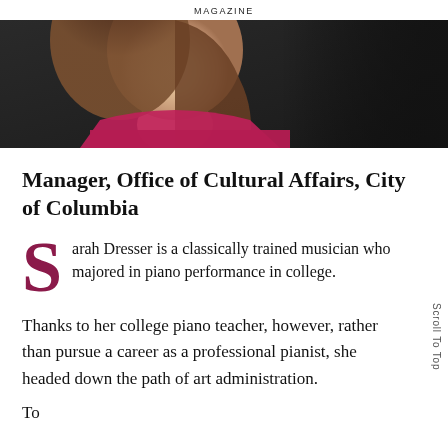MAGAZINE
[Figure (photo): Portrait photo of a woman with brown hair wearing a magenta/pink top, photographed from approximately chest up with a dark textured background on the right side.]
Manager, Office of Cultural Affairs, City of Columbia
Sarah Dresser is a classically trained musician who majored in piano performance in college.
Thanks to her college piano teacher, however, rather than pursue a career as a professional pianist, she headed down the path of art administration.
To be beginning with... [cut off]